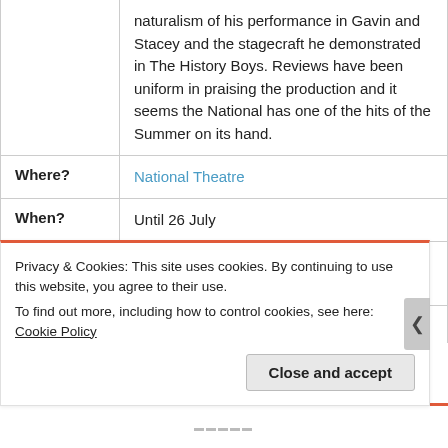|  | naturalism of his performance in Gavin and Stacey and the stagecraft he demonstrated in The History Boys. Reviews have been uniform in praising the production and it seems the National has one of the hits of the Summer on its hand. |
| Where? | National Theatre |
| When? | Until 26 July |
| How much? | £12 – £45 (£5 tickets available for 16-25 year olds) |
| Tedious one sentence deconstruction: | Over-exposed |
Privacy & Cookies: This site uses cookies. By continuing to use this website, you agree to their use.
To find out more, including how to control cookies, see here: Cookie Policy
Close and accept